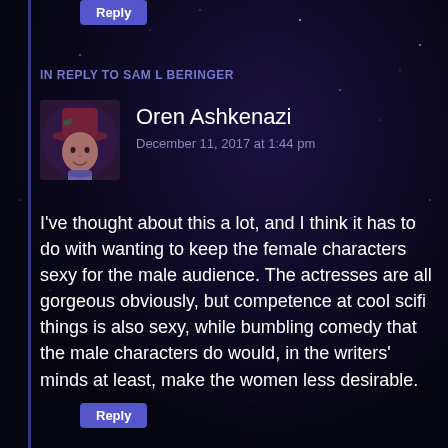Reply
IN REPLY TO SAM L BERINGER
Oren Ashkenazi
December 11, 2017 at 1:44 pm
I've thought about this a lot, and I think it has to do with wanting to keep the female characters sexy for the male audience. The actresses are all gorgeous obviously, but competence at cool scifi things is also sexy, while bumbling comedy that the male characters do would, in the writers' minds at least, make the women less desirable.
Reply